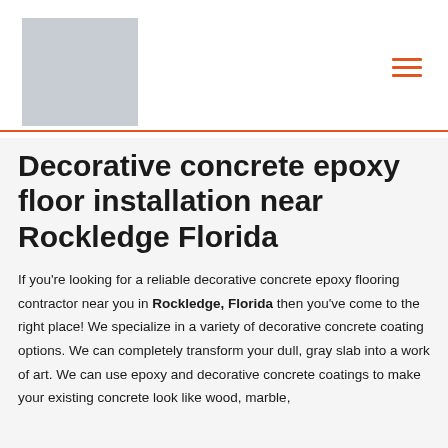[Figure (logo): Gray placeholder rectangle for company logo]
Decorative concrete epoxy floor installation near Rockledge Florida
If you're looking for a reliable decorative concrete epoxy flooring contractor near you in Rockledge, Florida then you've come to the right place! We specialize in a variety of decorative concrete coating options. We can completely transform your dull, gray slab into a work of art. We can use epoxy and decorative concrete coatings to make your existing concrete look like wood, marble,